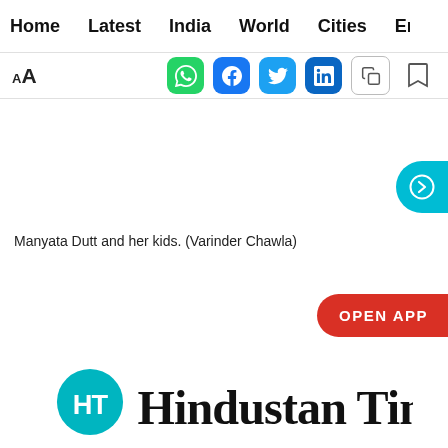Home  Latest  India  World  Cities  Entertainment
[Figure (screenshot): Toolbar with font size (AA) icon, WhatsApp, Facebook, Twitter, LinkedIn share buttons, copy and bookmark icons]
[Figure (other): Teal circular next/arrow button on right edge]
Manyata Dutt and her kids. (Varinder Chawla)
[Figure (other): Red pill-shaped OPEN APP button on right side]
[Figure (logo): Hindustan Times logo with teal HT circle emblem and blackletter wordmark 'Hindustan Times']